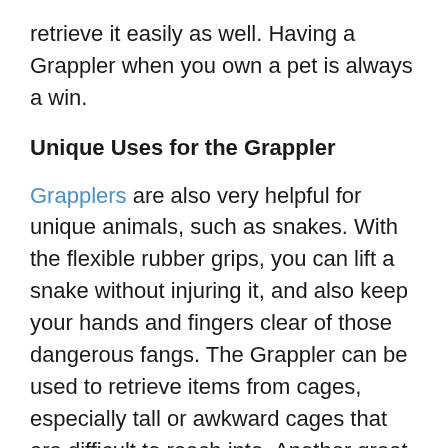retrieve it easily as well. Having a Grappler when you own a pet is always a win.
Unique Uses for the Grappler
Grapplers are also very helpful for unique animals, such as snakes. With the flexible rubber grips, you can lift a snake without injuring it, and also keep your hands and fingers clear of those dangerous fangs. The Grappler can be used to retrieve items from cages, especially tall or awkward cages that are difficult to reach into. Another great use for the flexible grabber tool is retrieving pet toys from hard-to-reach locations, such as under sofas, beds, or other furniture. Ferret owners can easily identify with the need for this, and many other animals hide or lose their toys as well.